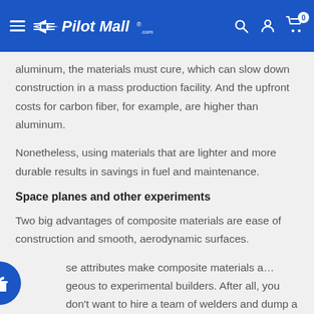Pilot Mall
aluminum, the materials must cure, which can slow down construction in a mass production facility. And the upfront costs for carbon fiber, for example, are higher than aluminum.
Nonetheless, using materials that are lighter and more durable results in savings in fuel and maintenance.
Space planes and other experiments
Two big advantages of composite materials are ease of construction and smooth, aerodynamic surfaces.
These attributes make composite materials advantageous to experimental builders. After all, you don't want to hire a team of welders and dump a bunch of